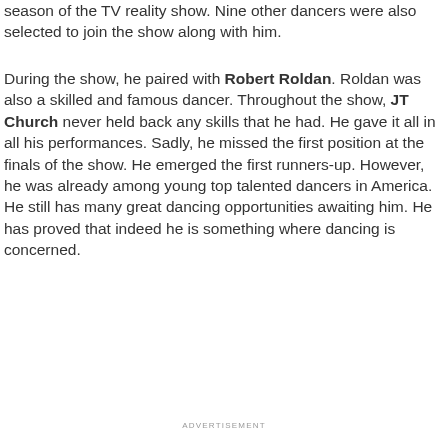season of the TV reality show. Nine other dancers were also selected to join the show along with him.
During the show, he paired with Robert Roldan. Roldan was also a skilled and famous dancer. Throughout the show, JT Church never held back any skills that he had. He gave it all in all his performances. Sadly, he missed the first position at the finals of the show. He emerged the first runners-up. However, he was already among young top talented dancers in America. He still has many great dancing opportunities awaiting him. He has proved that indeed he is something where dancing is concerned.
ADVERTISEMENT